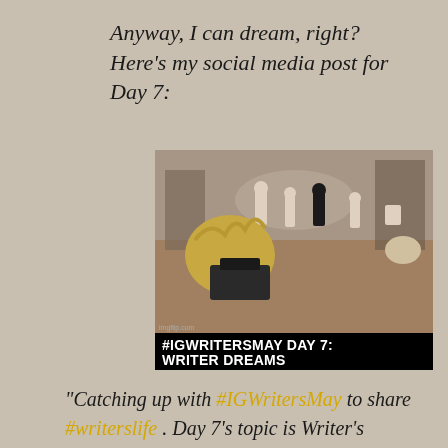Anyway, I can dream, right? Here's my social media post for Day 7:
[Figure (photo): Meme image showing a movie set scene with figures in the background and a person with blonde hair in the foreground, overlaid with bold white text: '#IGWRITERSMAY DAY 7: WRITER DREAMS'. Small 'imgflip.com' credit in bottom-left corner.]
"Catching up with #IGWritersMay to share #writerslife . Day 7's topic is Writer's Dream. It's a dream for my novel to become a movie, well directed and cast of course because we all know a list of bad